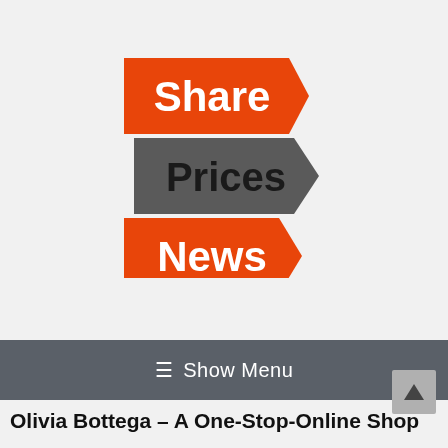[Figure (logo): Share Prices News logo with three arrow-shaped banners: red 'Share' banner, dark gray 'Prices' banner, and red 'News' banner stacked vertically]
≡ Show Menu
Olivia Bottega – A One-Stop-Online Shop